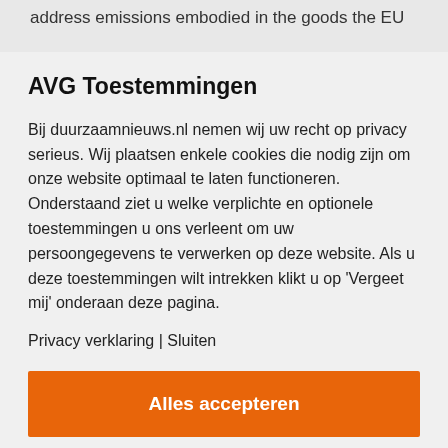address emissions embodied in the goods the EU
AVG Toestemmingen
Bij duurzaamnieuws.nl nemen wij uw recht op privacy serieus. Wij plaatsen enkele cookies die nodig zijn om onze website optimaal te laten functioneren. Onderstaand ziet u welke verplichte en optionele toestemmingen u ons verleent om uw persoongegevens te verwerken op deze website. Als u deze toestemmingen wilt intrekken klikt u op 'Vergeet mij' onderaan deze pagina.
Privacy verklaring | Sluiten
Alles accepteren
Instellingen